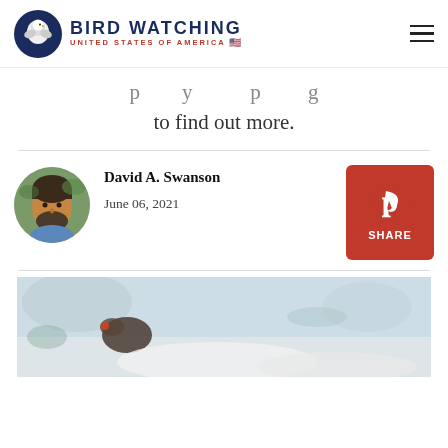BIRD WATCHING UNITED STATES OF AMERICA
to find out more.
David A. Swanson
June 06, 2021
[Figure (photo): Circular profile photo of David A. Swanson, a man with dark beard]
[Figure (photo): Partial article header photo showing a bird in a blurred outdoor winter/grey background]
[Figure (logo): Pinterest Share button (red square with Pinterest logo and SHARE text)]